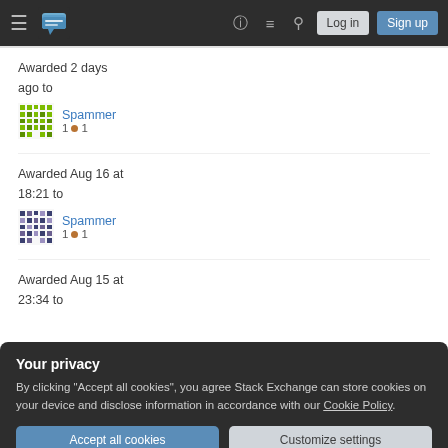Stack Exchange navigation bar with Log in and Sign up buttons
Awarded 2 days ago to
Spammer
1 ● 1
Awarded Aug 16 at 18:21 to
Spammer
1 ● 1
Awarded Aug 15 at 23:34 to
Your privacy
By clicking "Accept all cookies", you agree Stack Exchange can store cookies on your device and disclose information in accordance with our Cookie Policy.
Accept all cookies   Customize settings